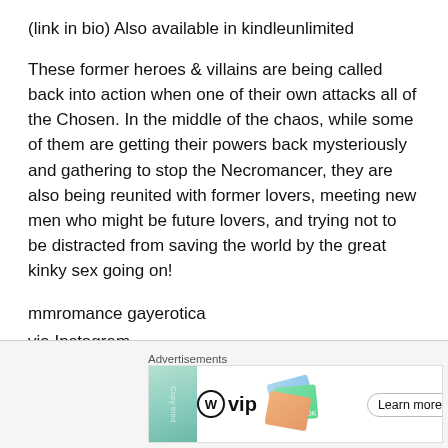(link in bio) Also available in kindleunlimited
These former heroes & villains are being called back into action when one of their own attacks all of the Chosen. In the middle of the chaos, while some of them are getting their powers back mysteriously and gathering to stop the Necromancer, they are also being reunited with former lovers, meeting new men who might be future lovers, and trying not to be distracted from saving the world by the great kinky sex going on!
mmromance gayerotica
via Instagram
https://www.instagram.com/p/B9hoqFsFT-Z/
[Figure (infographic): Advertisement banner showing WordPress VIP logo and 'Learn more' button with decorative cards]